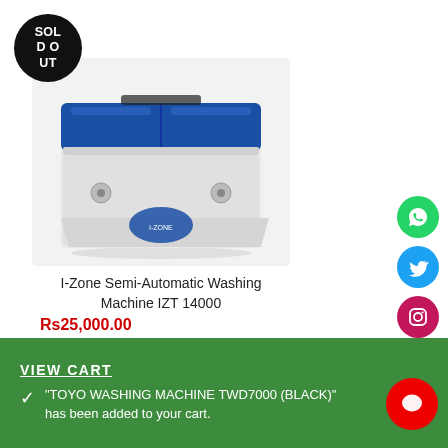[Figure (illustration): Black circular 'SOLD OUT' badge with white text]
[Figure (photo): I-Zone Semi-Automatic Washing Machine IZT 14000 — white body with blue lid, top-load twin tub]
I-Zone Semi-Automatic Washing Machine IZT 14000
Rs25,000.00
[Figure (illustration): Green circular WhatsApp icon]
[Figure (illustration): Blue circular Twitter icon]
[Figure (illustration): Pink circular Instagram icon]
[Figure (illustration): Red circular YouTube icon]
VIEW CART
"TOYO WASHING MACHINE TWD7000 (BLACK)" has been added to your cart.
[Figure (illustration): Red circular chat/message button]